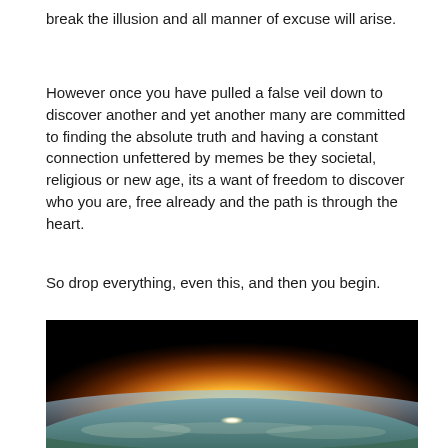break the illusion and all manner of excuse will arise.
However once you have pulled a false veil down to discover another and yet another many are committed to finding the absolute truth and having a constant connection unfettered by memes be they societal, religious or new age, its a want of freedom to discover who you are, free already and the path is through the heart.
So drop everything, even this, and then you begin.
[Figure (photo): A dramatic photo showing a sunrise or sunset over Earth's horizon as seen from space or high altitude, with a bright glowing white-yellow light source at the center horizon, surrounded by orange and amber hues, with a dark space background above and the curved surface of Earth below.]